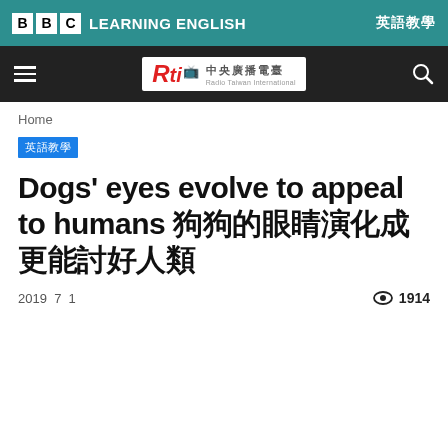BBC LEARNING ENGLISH 英語教學
[Figure (logo): RTI Radio Taiwan International logo with navigation bar (hamburger menu and search icon)]
Home
英語教學
Dogs' eyes evolve to appeal to humans 狗狗的眼睛演化成更能討好人類
2019 7 1   👁 1914